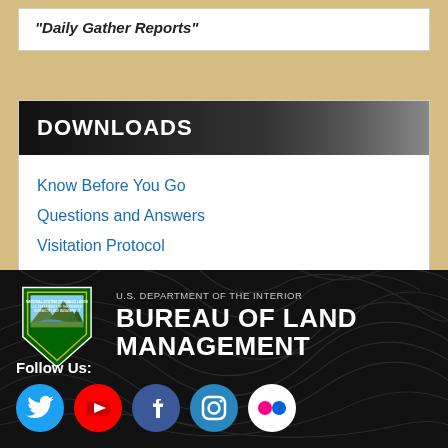"Daily Gather Reports"
DOWNLOADS
Know Before You Go
Questions and Answers
Visitation Protocol
U.S. DEPARTMENT OF THE INTERIOR BUREAU OF LAND MANAGEMENT Follow Us: